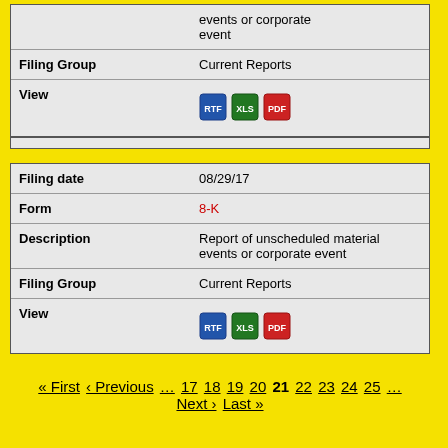| Field | Value |
| --- | --- |
|  | events or corporate event |
| Filing Group | Current Reports |
| View | [RTF] [XLS] [PDF] |
| Field | Value |
| --- | --- |
| Filing date | 08/29/17 |
| Form | 8-K |
| Description | Report of unscheduled material events or corporate event |
| Filing Group | Current Reports |
| View | [RTF] [XLS] [PDF] |
« First ‹ Previous … 17 18 19 20 21 22 23 24 25 … Next › Last »